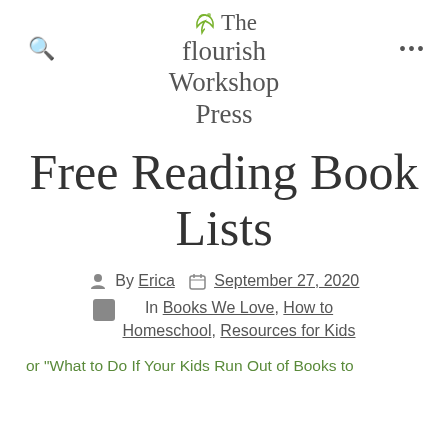The Flourish Workshop Press
Free Reading Book Lists
By Erica  September 27, 2020
In Books We Love, How to Homeschool, Resources for Kids
or “What to Do If Your Kids Run Out of Books to